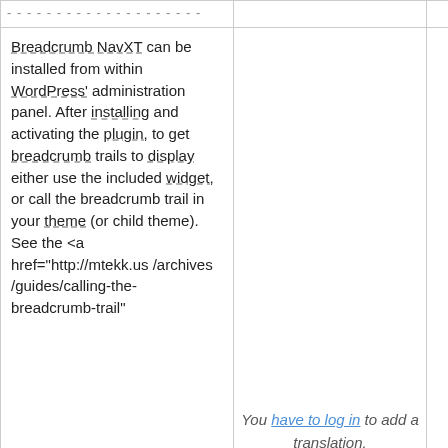| Description | Translation | Actions |
| --- | --- | --- |
| Breadcrumb NavXT can be installed from within WordPress' administration panel. After installing and activating the plugin, to get breadcrumb trails to display either use the included widget, or call the breadcrumb trail in your theme (or child theme). See the <a href="http://mtekk.us/archives/guides/calling-the-breadcrumb-trail" | You have to log in to add a translation. | Details |